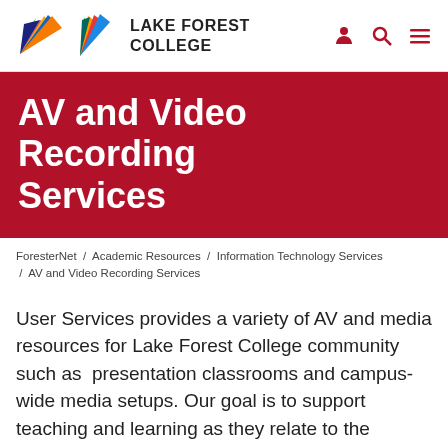LAKE FOREST COLLEGE
AV and Video Recording Services
ForesterNet  /  Academic Resources  /  Information Technology Services  /  AV and Video Recording Services
User Services provides a variety of AV and media resources for Lake Forest College community such as  presentation classrooms and campus-wide media setups. Our goal is to support teaching and learning as they relate to the educational needs of our campus.